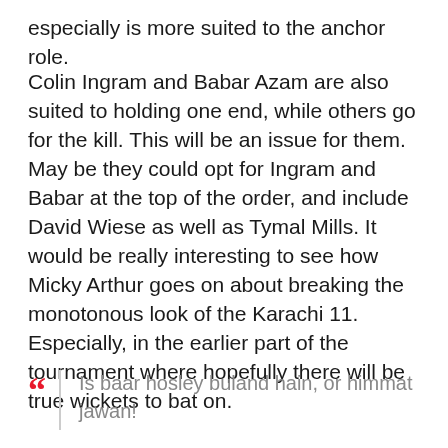especially is more suited to the anchor role.
Colin Ingram and Babar Azam are also suited to holding one end, while others go for the kill. This will be an issue for them. May be they could opt for Ingram and Babar at the top of the order, and include David Wiese as well as Tymal Mills. It would be really interesting to see how Micky Arthur goes on about breaking the monotonous look of the Karachi 11. Especially, in the earlier part of the tournament where hopefully there will be true wickets to bat on.
Is baar hosley buland hain, or himmat jawan!